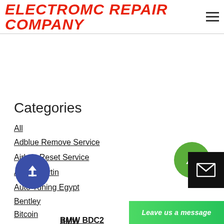ELECTROMC REPAIR COMPANY
Categories
All
Adblue Remove Service
Airbag Reset Service
Aston Martin
Auto Tuning Egypt
Bentley
Bitcoin
BMW
BMW BDC2
BMW Coupe
Leave us a message